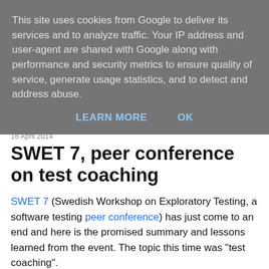This site uses cookies from Google to deliver its services and to analyze traffic. Your IP address and user-agent are shared with Google along with performance and security metrics to ensure quality of service, generate usage statistics, and to detect and address abuse.
LEARN MORE   OK
18 April 2014
SWET 7, peer conference on test coaching
SWET 7 (Swedish Workshop on Exploratory Testing, a software testing peer conference) has just come to an end and here is the promised summary and lessons learned from the event. The topic this time was "test coaching".
Don't worry Sweden
First of all, knowing that SWET 6 had few attendees, SWET 7 was almost cancelled and the group that finally signed up had far less experience than groups from previous iterations; you might be concerned about where context driven testing is heading in Sweden. Well, don't! There's a ridiculously